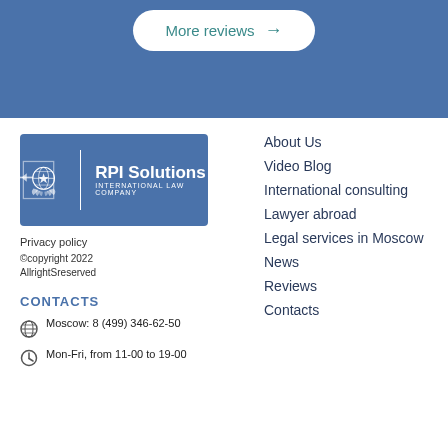[Figure (other): Blue banner section with More reviews button and arrow]
[Figure (logo): RPI Solutions International Law Company logo on blue background with globe/star emblem]
Privacy policy
©copyright 2022 AllrightSreserved
CONTACTS
Moscow: 8 (499) 346-62-50
Mon-Fri, from 11-00 to 19-00
About Us
Video Blog
International consulting
Lawyer abroad
Legal services in Moscow
News
Reviews
Contacts